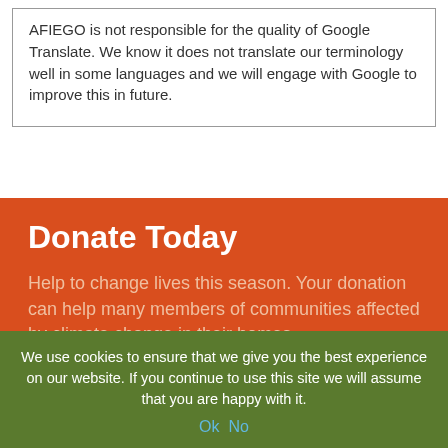AFIEGO is not responsible for the quality of Google Translate. We know it does not translate our terminology well in some languages and we will engage with Google to improve this in future.
Donate Today
Help to change lives this season. Your donation can help many members of communities affected by climate change in their homes.
[Figure (photo): Circular cropped photo of two women and a child standing in front of thatched-roof structures and wooden fencing in a rural setting.]
We use cookies to ensure that we give you the best experience on our website. If you continue to use this site we will assume that you are happy with it.
Ok  No